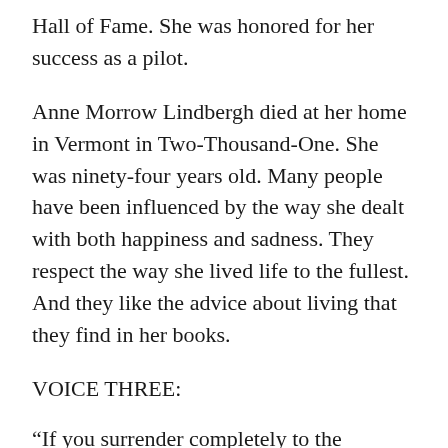Hall of Fame. She was honored for her success as a pilot.
Anne Morrow Lindbergh died at her home in Vermont in Two-Thousand-One. She was ninety-four years old. Many people have been influenced by the way she dealt with both happiness and sadness. They respect the way she lived life to the fullest. And they like the advice about living that they find in her books.
VOICE THREE:
“If you surrender completely to the moments as they pass, you live more richly in those moments.”
(THEME)